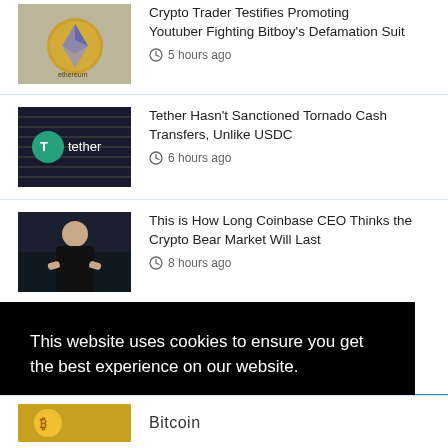Crypto Trader Testifies Promoting Youtuber Fighting Bitboy's Defamation Suit · 5 hours ago
[Figure (photo): Ethereum coin on top of US dollar bills]
Tether Hasn't Sanctioned Tornado Cash Transfers, Unlike USDC · 6 hours ago
[Figure (photo): Tether logo on dark background with venetian blinds]
This is How Long Coinbase CEO Thinks the Crypto Bear Market Will Last · 8 hours ago
[Figure (photo): Coinbase CEO man in black suit speaking on stage]
This website uses cookies to ensure you get the best experience on our website. Cookie Policy   Privacy Policy
Got it!
[Figure (photo): Partial Bitcoin coin logo at bottom of page]
Bitcoin